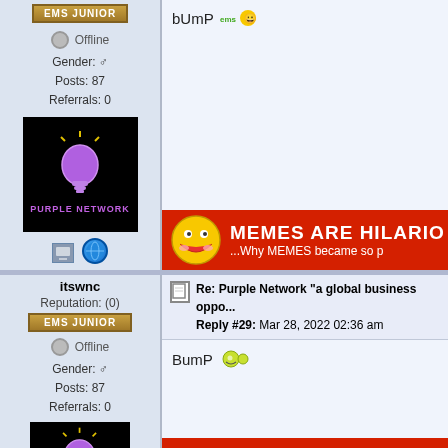EMS JUNIOR
Offline
Gender: ♂
Posts: 87
Referrals: 0
[Figure (illustration): Black background logo with purple lightbulb and text PURPLE NETWORK]
bUmP
[Figure (illustration): Red banner with smiley face: MEMES ARE HILARIO... ...Why MEMES became so p]
itswnc
Reputation: (0)
EMS JUNIOR
Offline
Gender: ♂
Posts: 87
Referrals: 0
[Figure (illustration): Black background logo with purple lightbulb and text PURPLE NETWORK]
Re: Purple Network "a global business oppo...
Reply #29: Mar 28, 2022 02:36 am
BumP